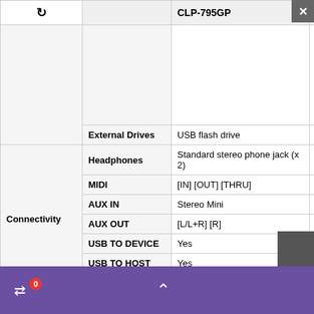| Category | Feature | CLP-795GP | CLP-... |
| --- | --- | --- | --- |
|  |  |  |  |
|  | External Drives | USB flash drive | USB |
| Connectivity | Headphones | Standard stereo phone jack (x 2) | Star |
|  | MIDI | [IN] [OUT] [THRU] | [IN] |
|  | AUX IN | Stereo Mini | Ster |
|  | AUX OUT | [L/L+R] [R] | [L/L |
|  | USB TO DEVICE | Yes | Yes |
|  | USB TO HOST | Yes | Yes |
|  | DC IN | 24 V | 24 V |
| Extensive | AUX Pedal | Yes | - |